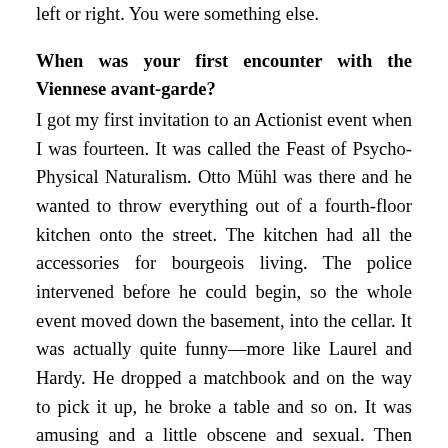left or right. You were something else.
When was your first encounter with the Viennese avant-garde?
I got my first invitation to an Actionist event when I was fourteen. It was called the Feast of Psycho-Physical Naturalism. Otto Mühl was there and he wanted to throw everything out of a fourth-floor kitchen onto the street. The kitchen had all the accessories for bourgeois living. The police intervened before he could begin, so the whole event moved down the basement, into the cellar. It was actually quite funny—more like Laurel and Hardy. He dropped a matchbook and on the way to pick it up, he broke a table and so on. It was amusing and a little obscene and sexual. Then Hermann Nitsch came along with a cadaver of a lamb and smashed it on the wall and the table. It was incredibly shocking and really depressing.